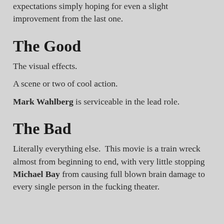expectations simply hoping for even a slight improvement from the last one.
The Good
The visual effects.
A scene or two of cool action.
Mark Wahlberg is serviceable in the lead role.
The Bad
Literally everything else.  This movie is a train wreck almost from beginning to end, with very little stopping Michael Bay from causing full blown brain damage to every single person in the fucking theater.